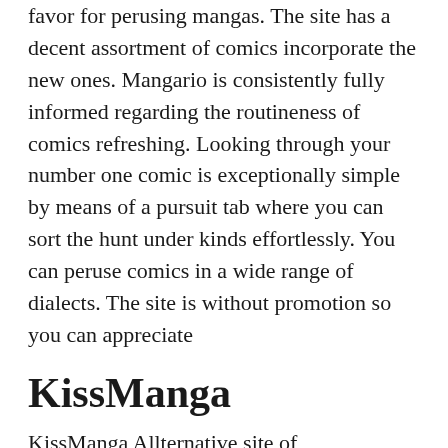favor for perusing mangas. The site has a decent assortment of comics incorporate the new ones. Mangario is consistently fully informed regarding the routineness of comics refreshing. Looking through your number one comic is exceptionally simple by means of a pursuit tab where you can sort the hunt under kinds effortlessly. You can peruse comics in a wide range of dialects. The site is without promotion so you can appreciate
KissManga
KissManga Allternative site of mangastream with more than one lakh comics so you can continue perusing as long as possible. The nature of the comics is high and it has a few special features comic for you. When a section is formally dispatched you can peruse t on this site. You can like it on your continue of perusing as long as